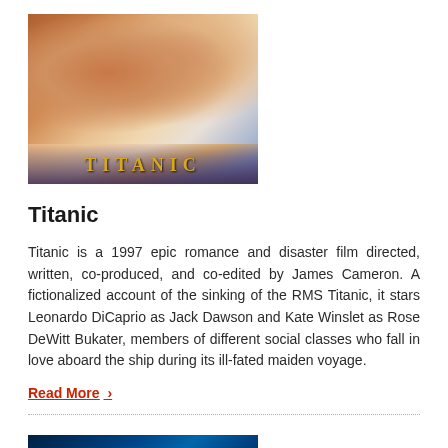[Figure (photo): Titanic movie poster showing two main characters romantically posed with a large ship in the background and the word TITANIC in gold letters at the bottom]
Titanic
Titanic is a 1997 epic romance and disaster film directed, written, co-produced, and co-edited by James Cameron. A fictionalized account of the sinking of the RMS Titanic, it stars Leonardo DiCaprio as Jack Dawson and Kate Winslet as Rose DeWitt Bukater, members of different social classes who fall in love aboard the ship during its ill-fated maiden voyage.
Read More >
[Figure (photo): Partially visible movie poster with dark blue background, bottom of the page]